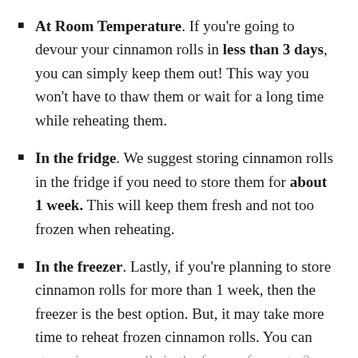At Room Temperature. If you're going to devour your cinnamon rolls in less than 3 days, you can simply keep them out! This way you won't have to thaw them or wait for a long time while reheating them.
In the fridge. We suggest storing cinnamon rolls in the fridge if you need to store them for about 1 week. This will keep them fresh and not too frozen when reheating.
In the freezer. Lastly, if you're planning to store cinnamon rolls for more than 1 week, then the freezer is the best option. But, it may take more time to reheat frozen cinnamon rolls. You can store cinnamon rolls in the freezer for up to 3 months.